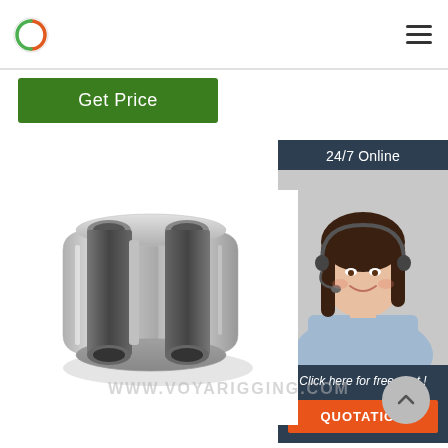voyarigging.com website header with logo and hamburger menu
Get Price
[Figure (photo): Customer service representative woman wearing headset, smiling, with '24/7 Online' header label and 'Click here for free chat!' text and orange QUOTATION button]
[Figure (photo): Aluminum oval wire rope ferrule/sleeve rigging hardware product photo with watermark WWW.VOYARIGGING.COM]